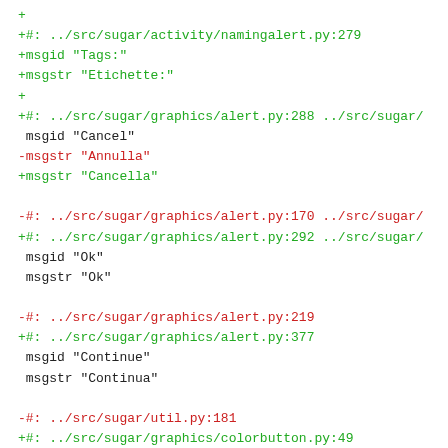+ 
+#: ../src/sugar/activity/namingalert.py:279
+msgid "Tags:"
+msgstr "Etichette:"
+
+#: ../src/sugar/graphics/alert.py:288 ../src/sugar/
 msgid "Cancel"
-msgstr "Annulla"
+msgstr "Cancella"

-#: ../src/sugar/graphics/alert.py:170 ../src/sugar/
+#: ../src/sugar/graphics/alert.py:292 ../src/sugar/
 msgid "Ok"
 msgstr "Ok"

-#: ../src/sugar/graphics/alert.py:219
+#: ../src/sugar/graphics/alert.py:377
 msgid "Continue"
 msgstr "Continua"

-#: ../src/sugar/util.py:181
+#: ../src/sugar/graphics/colorbutton.py:49
+msgid "Choose a color"
+msgstr "Scegli un colore"
+
+#: ../src/sugar/graphics/colorbutton.py:262
+msgid "Red"
+msgstr "Rosso"
+
+#: ../src/sugar/graphics/colorbutton.py:264